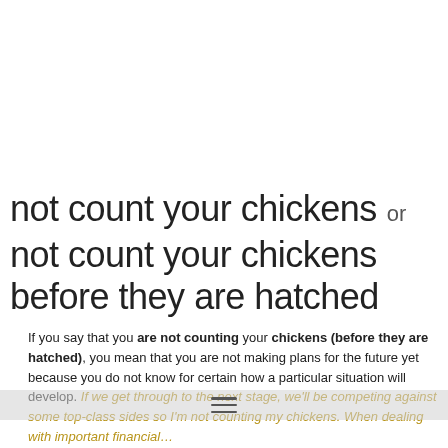not count your chickens  or
not count your chickens before they are hatched
If you say that you are not counting your chickens (before they are hatched), you mean that you are not making plans for the future yet because you do not know for certain how a particular situation will develop. If we get through to the next stage, we'll be competing against some top-class sides so I'm not counting my chickens. When dealing with important financial…
≡